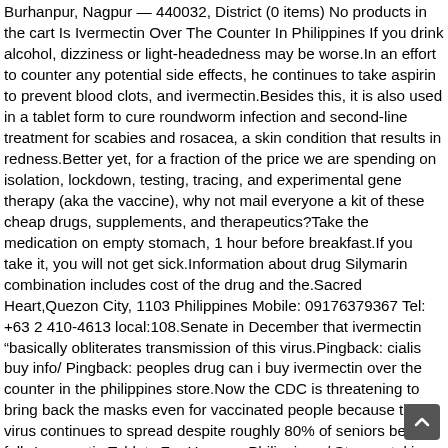Burhanpur, Nagpur — 440032, District (0 items) No products in the cart Is Ivermectin Over The Counter In Philippines If you drink alcohol, dizziness or light-headedness may be worse.In an effort to counter any potential side effects, he continues to take aspirin to prevent blood clots, and ivermectin.Besides this, it is also used in a tablet form to cure roundworm infection and second-line treatment for scabies and rosacea, a skin condition that results in redness.Better yet, for a fraction of the price we are spending on isolation, lockdown, testing, tracing, and experimental gene therapy (aka the vaccine), why not mail everyone a kit of these cheap drugs, supplements, and therapeutics?Take the medication on empty stomach, 1 hour before breakfast.If you take it, you will not get sick.Information about drug Silymarin combination includes cost of the drug and the.Sacred Heart,Quezon City, 1103 Philippines Mobile: 09176379367 Tel: +63 2 410-4613 local:108.Senate in December that ivermectin "basically obliterates transmission of this virus.Pingback: cialis buy info/ Pingback: peoples drug can i buy ivermectin over the counter in the philippines store.Now the CDC is threatening to bring back the masks even for vaccinated people because the virus continues to spread despite roughly 80% of seniors being fully.Ivermectin Tablets For Humans Philippines / Stromectol in deutschland kaufen / Stromectol direkt beim hersteller kaufen Ivermectin canada buy.A Monash University-led study has shown that an anti-parasitic drug already